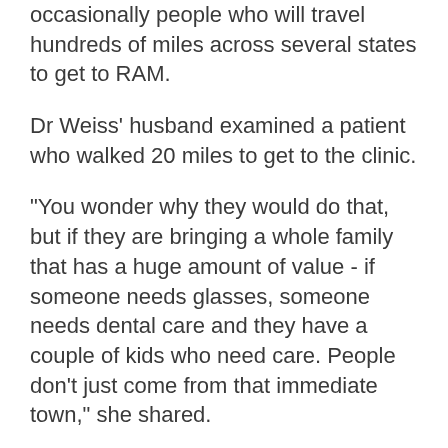occasionally people who will travel hundreds of miles across several states to get to RAM.
Dr Weiss' husband examined a patient who walked 20 miles to get to the clinic.
"You wonder why they would do that, but if they are bringing a whole family that has a huge amount of value - if someone needs glasses, someone needs dental care and they have a couple of kids who need care. People don't just come from that immediate town," she shared.
Giving back
Dr Weiss' commitment to helping others stems from what she experienced in her own